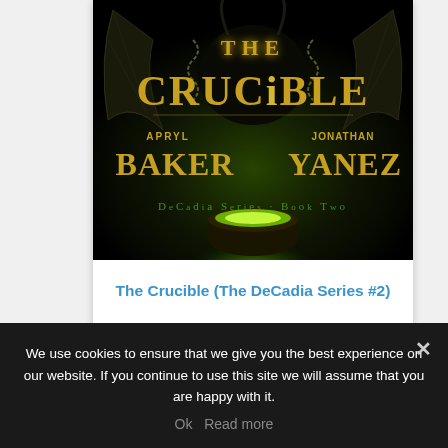[Figure (illustration): Book cover for 'The Crucible' - DeCadia Series Book Two by Apryl Baker and Jonathan Yanez. Dark fantasy cover with a dragon, chains, and glowing green cauldron. Title 'THE CRUCIBLE' in large gold letters, authors 'APRYL BAKER' and 'JONATHAN YANEZ' in gold, subtitle 'DeCaDia Series Book Two' in green.]
The Crucible (The DeCadia Series #2)
We use cookies to ensure that we give you the best experience on our website. If you continue to use this site we will assume that you are happy with it.